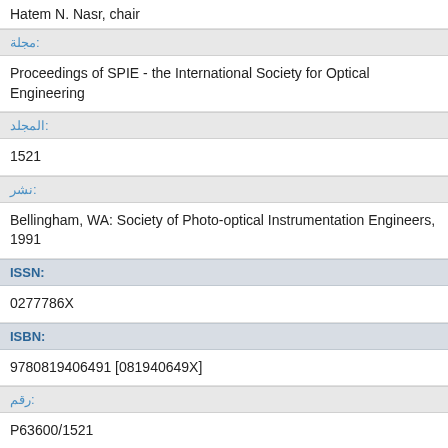Hatem N. Nasr, chair
مجلة:
Proceedings of SPIE - the International Society for Optical Engineering
المجلد:
1521
نشر:
Bellingham, WA: Society of Photo-optical Instrumentation Engineers, 1991
ISSN:
0277786X
ISBN:
9780819406491 [081940649X]
رقم:
P63600/1521
نوع:
كتاب